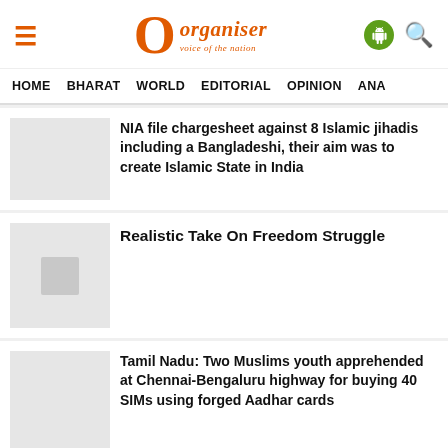Organiser - Voice of the Nation
HOME
BHARAT
WORLD
EDITORIAL
OPINION
ANA
NIA file chargesheet against 8 Islamic jihadis including a Bangladeshi, their aim was to create Islamic State in India
Realistic Take On Freedom Struggle
Tamil Nadu: Two Muslims youth apprehended at Chennai-Bengaluru highway for buying 40 SIMs using forged Aadhar cards
Patanjali lays foundation stone for palm oil mill in Arunachal, targets 38,000 ha plantation in entire northeast India